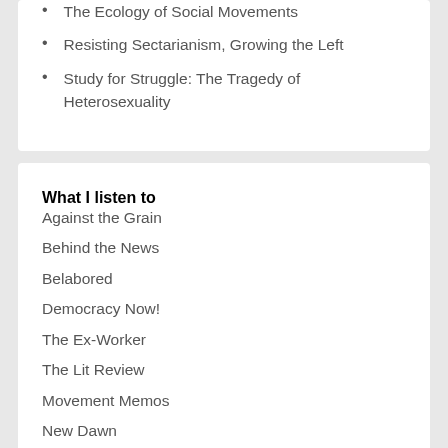The Ecology of Social Movements
Resisting Sectarianism, Growing the Left
Study for Struggle: The Tragedy of Heterosexuality
What I listen to
Against the Grain
Behind the News
Belabored
Democracy Now!
The Ex-Worker
The Lit Review
Movement Memos
New Dawn
Talking Radical Radio
Treyf
Who Makes Cents?